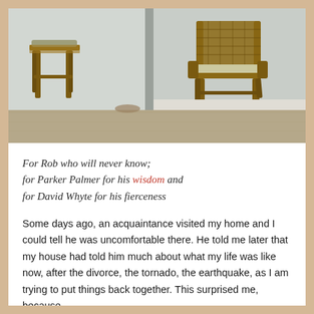[Figure (photo): Two wicker/rattan chairs in a sparse whitewashed room with concrete or plaster walls and a wooden floor. One chair is on the left near the wall corner, one larger chair on the right.]
For Rob who will never know; for Parker Palmer for his wisdom and for David Whyte for his fierceness
Some days ago, an acquaintance visited my home and I could tell he was uncomfortable there. He told me later that my house had told him much about what my life was like now, after the divorce, the tornado, the earthquake, as I am trying to put things back together. This surprised me, because